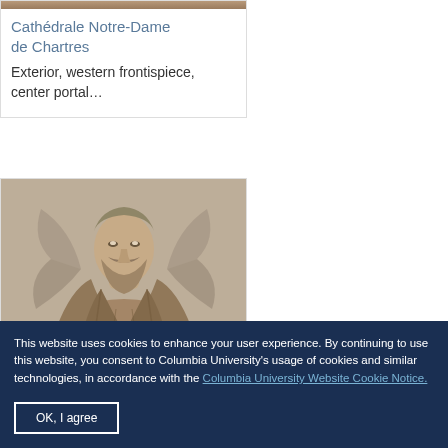Cathédrale Notre-Dame de Chartres
Exterior, western frontispiece, center portal…
[Figure (photo): Stone sculpture of a bearded figure, possibly Christ or a saint, from the facade of Chartres Cathedral]
This website uses cookies to enhance your user experience. By continuing to use this website, you consent to Columbia University's usage of cookies and similar technologies, in accordance with the Columbia University Website Cookie Notice.
OK, I agree